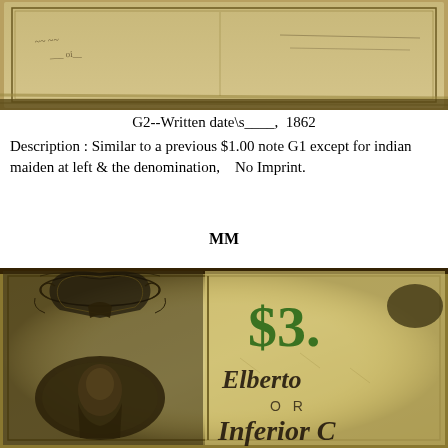[Figure (photo): Cropped photograph of an antique currency note, yellowed/aged paper with handwritten text and engraved vignette visible at top portion.]
G2--Written date\s____, 1862
Description : Similar to a previous $1.00 note G1 except for indian maiden at left & the denomination,   No Imprint.
MM
[Figure (photo): Photograph of an antique $3 currency note from Elberton, showing ornate engraved portrait vignette on the left, green printed '$3.' denomination, and old-style blackletter text reading 'Elberton', 'OR', and 'Inferior C' (Court) on aged yellowish-green paper.]